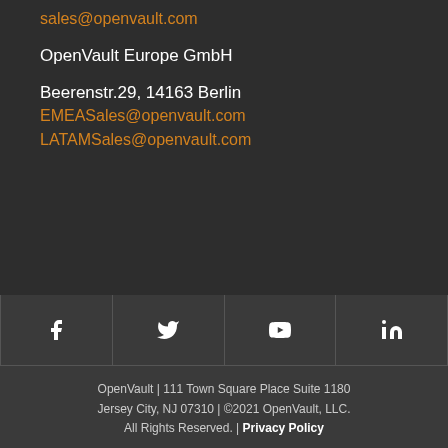sales@openvault.com
OpenVault Europe GmbH
Beerenstr.29, 14163 Berlin
EMEASales@openvault.com
LATAMSales@openvault.com
[Figure (other): Social media icons row: Facebook, Twitter, YouTube, LinkedIn]
OpenVault | 111 Town Square Place Suite 1180 Jersey City, NJ 07310 | ©2021 OpenVault, LLC. All Rights Reserved. | Privacy Policy